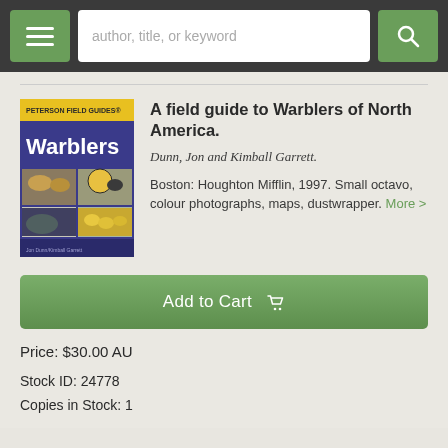author, title, or keyword
[Figure (photo): Book cover: Peterson Field Guides - Warblers by Jon Dunn/Kimball Garrett. Blue cover with bird photographs.]
A field guide to Warblers of North America.
Dunn, Jon and Kimball Garrett.
Boston: Houghton Mifflin, 1997. Small octavo, colour photographs, maps, dustwrapper. More >
Add to Cart
Price: $30.00 AU
Stock ID: 24778
Copies in Stock: 1